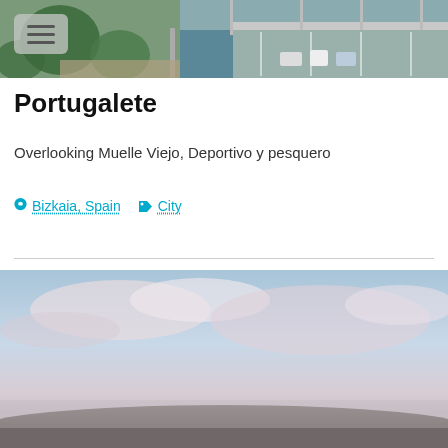[Figure (photo): Aerial webcam view of Muelle Viejo harbor/dock in Portugalete, Spain, showing boats, vehicles, and waterfront area]
Portugalete
Overlooking Muelle Viejo, Deportivo y pesquero
Bizkaia, Spain   City
[Figure (photo): Outdoor webcam view showing sky with clouds and hazy distant landscape/hills]